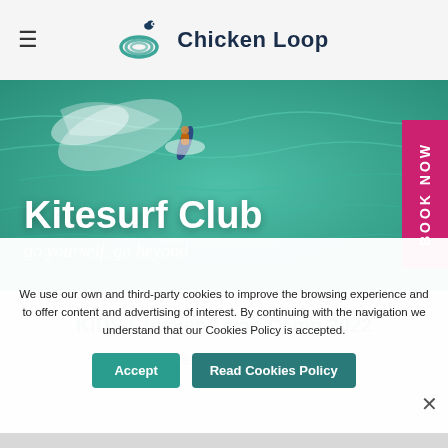☰  Chicken Loop
[Figure (photo): Aerial view of a kitesurfer riding green ocean waves, viewed from above. Background is turquoise water with white foam trails.]
Kitesurf Club
go yourself, go beyond
Book Now
We use our own and third-party cookies to improve the browsing experience and to offer content and advertising of interest. By continuing with the navigation we understand that our Cookies Policy is accepted.
Accept
Read Cookies Policy
KIDS Chicken Loop Camp 2022
Open enrollment Now!